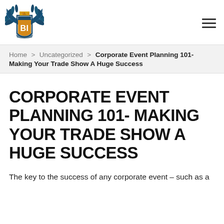[Figure (logo): BI shield logo with eagle wings in dark teal and gold/orange colors, with crown on top and 'BI' text inside shield]
Home > Uncategorized > Corporate Event Planning 101- Making Your Trade Show A Huge Success
CORPORATE EVENT PLANNING 101- MAKING YOUR TRADE SHOW A HUGE SUCCESS
The key to the success of any corporate event – such as a